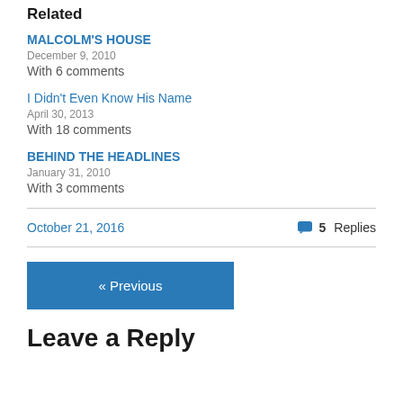Related
MALCOLM'S HOUSE
December 9, 2010
With 6 comments
I Didn't Even Know His Name
April 30, 2013
With 18 comments
BEHIND THE HEADLINES
January 31, 2010
With 3 comments
October 21, 2016
5 Replies
« Previous
Leave a Reply